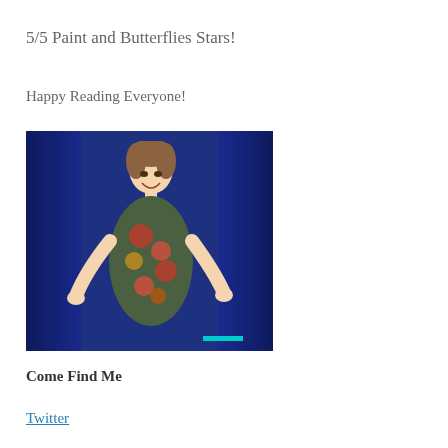5/5 Paint and Butterflies Stars!
Happy Reading Everyone!
[Figure (photo): A young woman in a floral dress standing in front of blue curtains, arms spread, smiling. A small teal watermark bar is visible in the lower right of the image.]
Come Find Me
Twitter